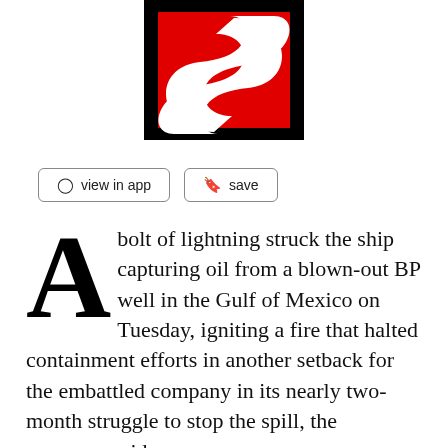[Figure (logo): Scribd logo: black border square with red background and white S-curve shape]
view in app   save
A bolt of lightning struck the ship capturing oil from a blown-out BP well in the Gulf of Mexico on Tuesday, igniting a fire that halted containment efforts in another setback for the embattled company in its nearly two-month struggle to stop the spill, the company said.
The fire was quickly extinguished and no one was injured. BP said it hopes to resume containing oil from